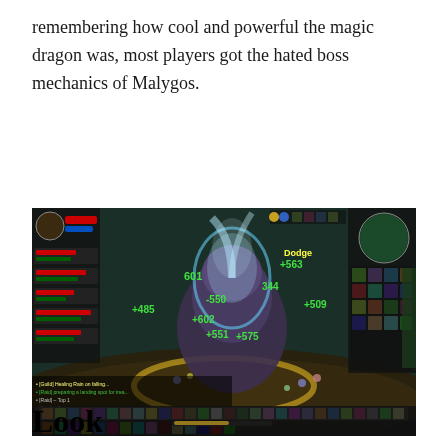remembering how cool and powerful the magic dragon was, most players got the hated boss mechanics of Malygos.
[Figure (screenshot): Screenshot of a World of Warcraft raid encounter against Malygos, showing a boss fight with healing numbers floating on screen (+485, +563, +509, +550, +344, +602, +551, +575, +601, Dodge, etc.), player UI with action bars, minimap, and party frames visible.]
Look